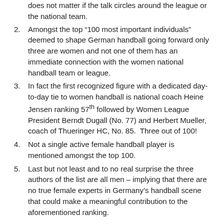does not matter if the talk circles around the league or the national team.
2. Amongst the top “100 most important individuals” deemed to shape German handball going forward only three are women and not one of them has an immediate connection with the women national handball team or league.
3. In fact the first recognized figure with a dedicated day-to-day tie to women handball is national coach Heine Jensen ranking 57th followed by Women League President Berndt Dugall (No. 77) and Herbert Mueller, coach of Thueringer HC, No. 85.  Three out of 100!
4. Not a single active female handball player is mentioned amongst the top 100.
5. Last but not least and to no real surprise the three authors of the list are all men – implying that there are no true female experts in Germany’s handball scene that could make a meaningful contribution to the aforementioned ranking.